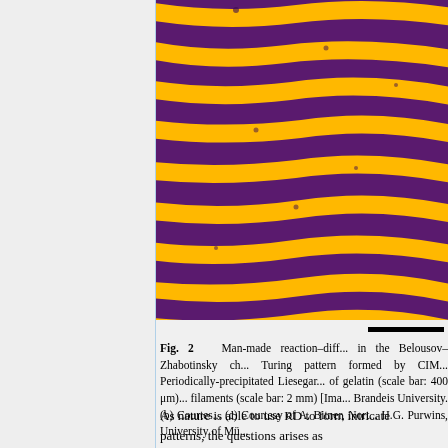[Figure (photo): Microscopy image showing alternating purple and yellow stripe patterns (reaction-diffusion Turing patterns), cropped to show right portion of the image.]
Fig. 2   Man-made reaction–diff... in the Belousov–Zhabotinsky ch... Turing pattern formed by CIM... Periodically-precipitated Liesegar... of gelatin (scale bar: 400 μm)... filaments (scale bar: 2 mm) [Ima... Brandeis University. (b) Courtes... (c) Courtesy of A. Bitner, Nort... H.G. Purwins, University of Mü...
As nature is able to use RD to form intricate patterns, the questions arises as